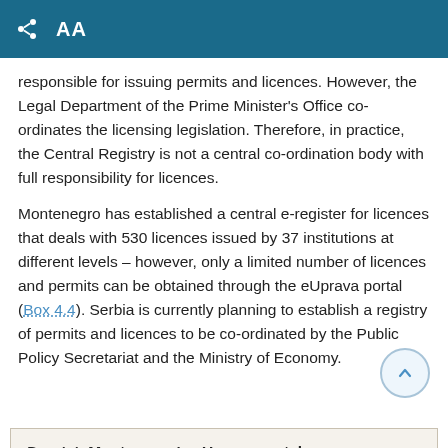AA
responsible for issuing permits and licences. However, the Legal Department of the Prime Minister's Office co-ordinates the licensing legislation. Therefore, in practice, the Central Registry is not a central co-ordination body with full responsibility for licences.
Montenegro has established a central e-register for licences that deals with 530 licences issued by 37 institutions at different levels – however, only a limited number of licences and permits can be obtained through the eUprava portal (Box 4.4). Serbia is currently planning to establish a registry of permits and licences to be co-ordinated by the Public Policy Secretariat and the Ministry of Economy.
Box 4.4. Montenegro's eUprava portal